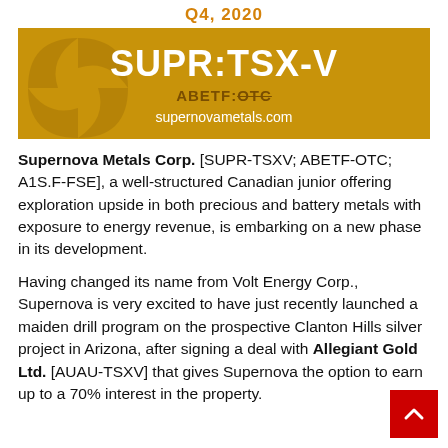Q4, 2020
[Figure (logo): Supernova Metals Corp logo box with ticker SUPR:TSX-V, ABETF:OTC, and website supernovametals.com on gold/amber background with pinwheel graphic]
Supernova Metals Corp. [SUPR-TSXV; ABETF-OTC; A1S.F-FSE], a well-structured Canadian junior offering exploration upside in both precious and battery metals with exposure to energy revenue, is embarking on a new phase in its development.
Having changed its name from Volt Energy Corp., Supernova is very excited to have just recently launched a maiden drill program on the prospective Clanton Hills silver project in Arizona, after signing a deal with Allegiant Gold Ltd. [AUAU-TSXV] that gives Supernova the option to earn up to a 70% interest in the property.